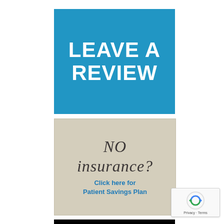LEAVE A REVIEW
[Figure (infographic): Beige/tan box with handwritten-style italic text 'NO insurance?' and blue bold text 'Click here for Patient Savings Plan']
[Figure (other): Black bar/banner at bottom]
[Figure (other): reCAPTCHA widget in bottom-right corner showing spinning arrows icon and 'Privacy - Terms' text]